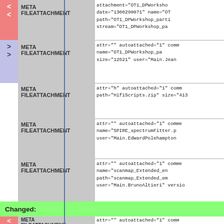| marker | tag | content |
| --- | --- | --- |
| < | META FILEATTACHMENT | attachment="OT1_DPWorkshop_ date="1300290071" name="OT path="OT1_DPWorkshop_parti stream="OT1_DPWorkshop_pa |
| > | META FILEATTACHMENT | attr="" autoattached="1" comm name="OT1_DPWorkshop_pa size="12521" user="Main.Jean |
|  | META FILEATTACHMENT | attr="h" autoattached="1" comm path="HifiScripts.zip" size="413 |
|  | META FILEATTACHMENT | attr="" autoattached="1" comme name="SPIRE_spectrumFitter.p user="Main.EdwardPolehampton |
|  | META FILEATTACHMENT | attr="" autoattached="1" comme name="scanmap_Extended_en path="scanmap_Extended_em user="Main.BrunoAltieri" versio |
| Changed: |  |  |
| < | META FILEATTACHMENT | attr="" autoattached="1" comm |